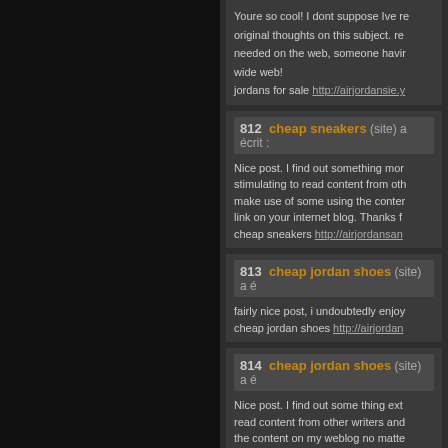Youre so cool! I dont suppose Ive read anything like this before. So nice to find somebody with some original thoughts on this subject. realy thank you for starting this up. this website is something that is needed on the web, someone having a little originality. useful job for bringing something new to the wide web!
jordans for sale http://airjordansie.y...
812  cheap sneakers (site) a écrit :
Nice post. I find out something more stimulating to read content from other writers and make use of some using the content from their link on your internet blog. Thanks for sharing.
cheap sneakers http://airjordansan...
813  cheap jordan shoes (site) a é...
fairly nice post, i undoubtedly enjoy
cheap jordan shoes http://airjordan...
814  cheap jordan shoes (site) a é...
Nice post. I find out some thing extra challenging to read content from other writers and make use of some using the content on my weblog no matte...
Thanks for sharing.